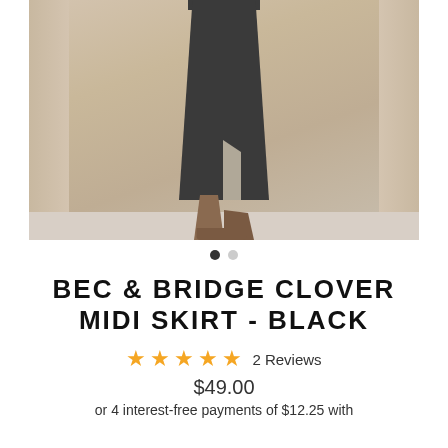[Figure (photo): A person wearing a black midi skirt with a side slit and brown heels, standing against a beige wall.]
BEC & BRIDGE CLOVER MIDI SKIRT - BLACK
★★★★★ 2 Reviews
$49.00
or 4 interest-free payments of $12.25 with